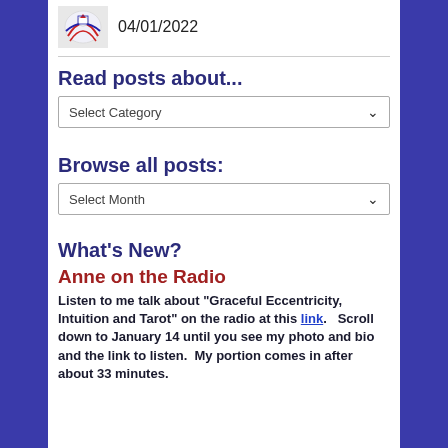[Figure (illustration): Small decorative thumbnail image with colorful design]
04/01/2022
Read posts about...
Select Category
Browse all posts:
Select Month
What's New?
Anne on the Radio
Listen to me talk about "Graceful Eccentricity, Intuition and Tarot" on the radio at this link.   Scroll down to January 14 until you see my photo and bio and the link to listen.  My portion comes in after about 33 minutes.